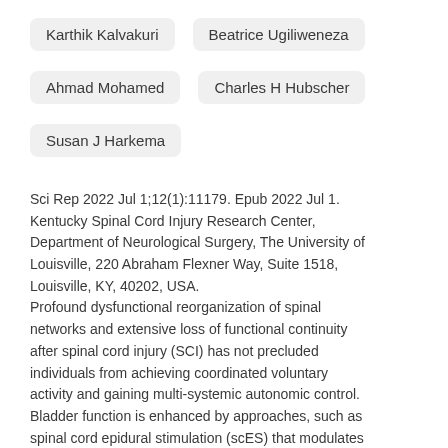Karthik Kalvakuri
Beatrice Ugiliweneza
Ahmad Mohamed
Charles H Hubscher
Susan J Harkema
Sci Rep 2022 Jul 1;12(1):11179. Epub 2022 Jul 1. Kentucky Spinal Cord Injury Research Center, Department of Neurological Surgery, The University of Louisville, 220 Abraham Flexner Way, Suite 1518, Louisville, KY, 40202, USA. Profound dysfunctional reorganization of spinal networks and extensive loss of functional continuity after spinal cord injury (SCI) has not precluded individuals from achieving coordinated voluntary activity and gaining multi-systemic autonomic control. Bladder function is enhanced by approaches, such as spinal cord epidural stimulation (scES) that modulates and strengthens spared circuitry, even in cases of clinically complete SCI. It is unknown whether scES